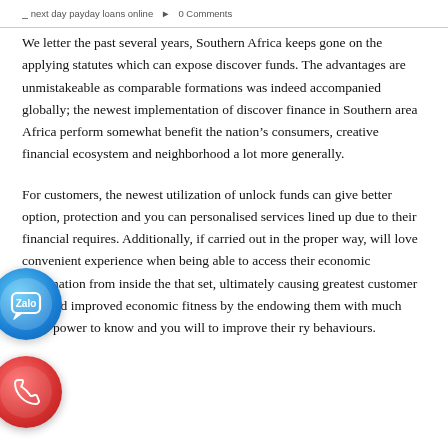next day payday loans online  •  0 Comments
We letter the past several years, Southern Africa keeps gone on the applying statutes which can expose discover funds. The advantages are unmistakeable as comparable formations was indeed accompanied globally; the newest implementation of discover finance in Southern area Africa perform somewhat benefit the nation's consumers, creative financial ecosystem and neighborhood a lot more generally.
For customers, the newest utilization of unlock funds can give better option, protection and you can personalised services lined up due to their financial requires. Additionally, if carried out in the proper way, will love convenient experience when being able to access their economic information from inside the that set, ultimately causing greatest customer care and improved economic fitness by the endowing them with much more power to know and you will to improve their ry behaviours.